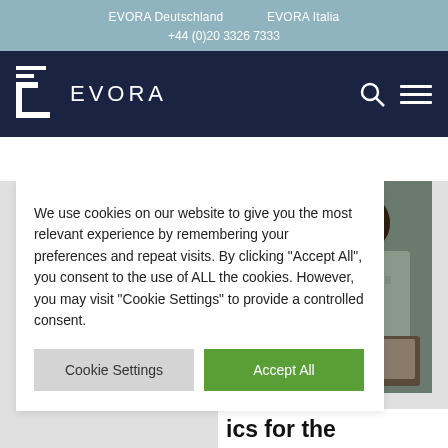EVORA Deutschland   EVORA Italia   +44 (0)20 3326 7333
[Figure (logo): EVORA logo with bracket symbol and text EVORA on dark navy background with search and menu icons]
We use cookies on our website to give you the most relevant experience by remembering your preferences and repeat visits. By clicking "Accept All", you consent to the use of ALL the cookies. However, you may visit "Cookie Settings" to provide a controlled consent.
Cookie Settings   Accept All
[Figure (photo): Person working on a laptop wearing a patterned jacket]
ics for the
axonomy